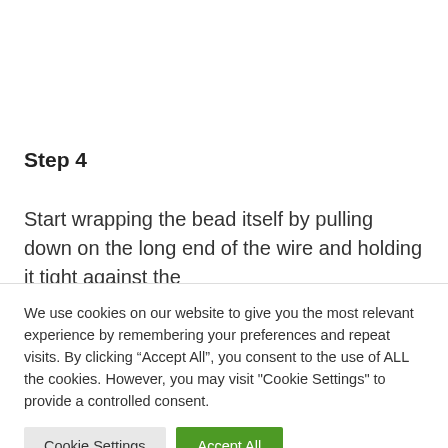Step 4
Start wrapping the bead itself by pulling down on the long end of the wire and holding it tight against the
We use cookies on our website to give you the most relevant experience by remembering your preferences and repeat visits. By clicking “Accept All”, you consent to the use of ALL the cookies. However, you may visit "Cookie Settings" to provide a controlled consent.
Cookie Settings | Accept All